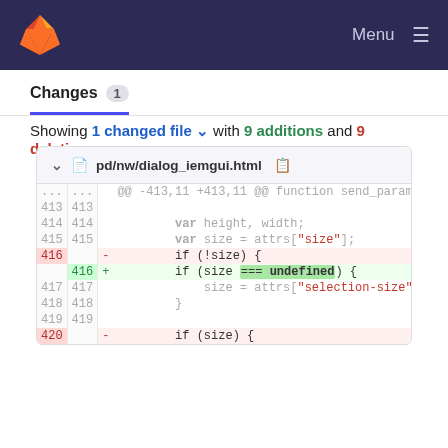GitLab — Menu
Changes 1
Showing 1 changed file with 9 additions and 9 deletions
[Figure (screenshot): GitLab diff view of pd/nw/dialog_iemgui.html showing code changes around lines 413-420, with line 416 deleted (if (!size) {) and added (if (size === undefined) {)]